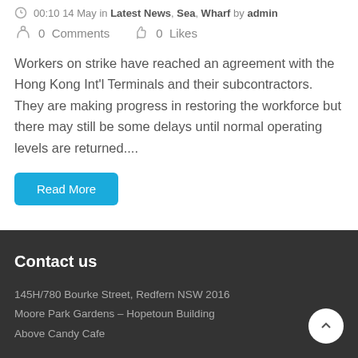00:10 14 May in Latest News, Sea, Wharf by admin
0 Comments   0 Likes
Workers on strike have reached an agreement with the Hong Kong Int'l Terminals and their subcontractors. They are making progress in restoring the workforce but there may still be some delays until normal operating levels are returned....
Read More
Contact us
145H/780 Bourke Street, Redfern NSW 2016
Moore Park Gardens – Hopetoun Building
Above Candy Cafe